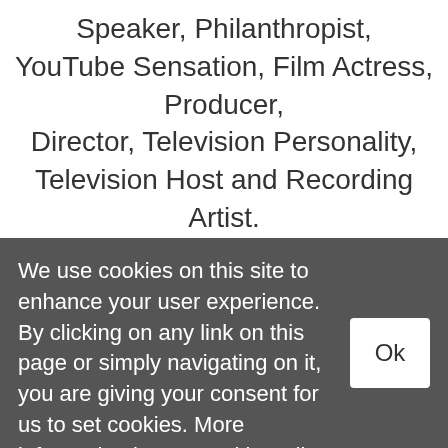Speaker, Philanthropist, YouTube Sensation, Film Actress, Producer, Director, Television Personality, Television Host and Recording Artist. Jen is co-owner of Viral Video Media Group. As an experienced writer, creator and marketing guru, Jen builds strategic partnerships with brands and companies, launching viral video campaigns as a spokesperson and personality.
We use cookies on this site to enhance your user experience. By clicking on any link on this page or simply navigating on it, you are giving your consent for us to set cookies. More information in our Cookie Policy.